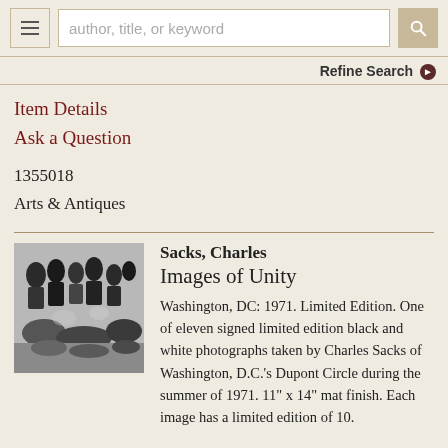author, title, or keyword [search bar] | Refine Search
Item Details
Ask a Question
1355018
Arts & Antiques
[Figure (photo): Black and white photograph showing a group of people gathered outdoors, some sitting on the ground in what appears to be an outdoor community gathering scene.]
Sacks, Charles
Images of Unity
Washington, DC: 1971. Limited Edition. One of eleven signed limited edition black and white photographs taken by Charles Sacks of Washington, D.C.'s Dupont Circle during the summer of 1971. 11" x 14" mat finish. Each image has a limited edition of 10.